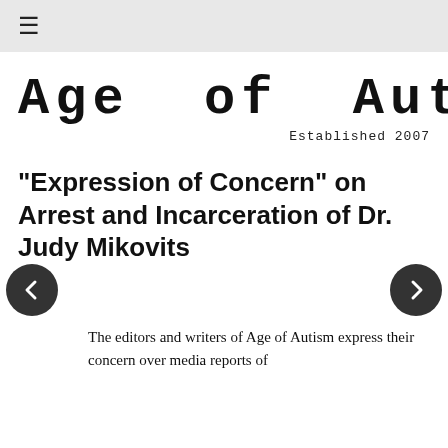≡
[Figure (logo): Age of Autism logo in typewriter-style font with a red letter 'i', and 'Established 2007' below]
"Expression of Concern" on Arrest and Incarceration of Dr. Judy Mikovits
The editors and writers of Age of Autism express their concern over media reports of